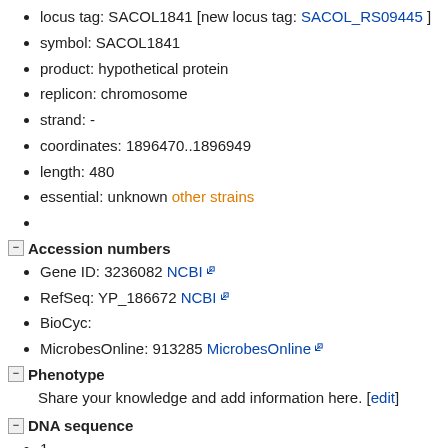locus tag: SACOL1841 [new locus tag: SACOL_RS09445]
symbol: SACOL1841
product: hypothetical protein
replicon: chromosome
strand: -
coordinates: 1896470..1896949
length: 480
essential: unknown other strains
Accession numbers
Gene ID: 3236082 NCBI
RefSeq: YP_186672 NCBI
BioCyc:
MicrobesOnline: 913285 MicrobesOnline
Phenotype
Share your knowledge and add information here. [edit]
DNA sequence
1
61
121
181
241